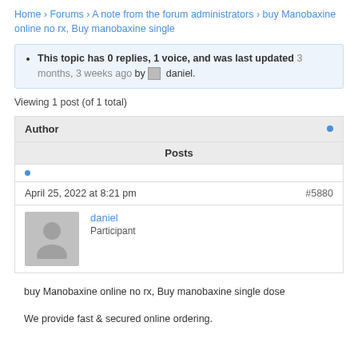Home › Forums › A note from the forum administrators › buy Manobaxine online no rx, Buy manobaxine single
This topic has 0 replies, 1 voice, and was last updated 3 months, 3 weeks ago by daniel.
Viewing 1 post (of 1 total)
| Author | Posts |
| --- | --- |
| • | April 25, 2022 at 8:21 pm | #5880 | daniel | Participant |
buy Manobaxine online no rx, Buy manobaxine single dose
We provide fast & secured online ordering.